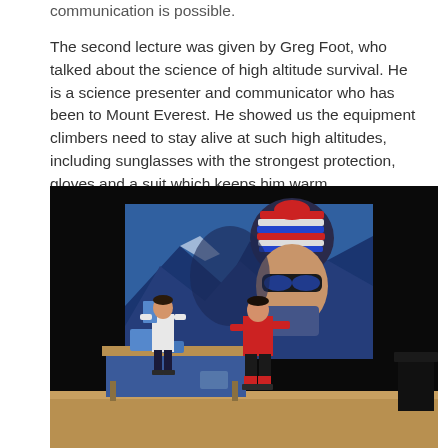communication is possible.
The second lecture was given by Greg Foot, who talked about the science of high altitude survival. He is a science presenter and communicator who has been to Mount Everest. He showed us the equipment climbers need to stay alive at such high altitudes, including sunglasses with the strongest protection, gloves and a suit which keeps him warm.
[Figure (photo): A lecture hall stage with a large projection screen showing a mountain climber wearing a colourful striped hat at high altitude. Two presenters are on stage: one on the left near a blue-clothed table with equipment, and one on the right wearing a red climbing suit. A dark lectern is visible on the far right.]